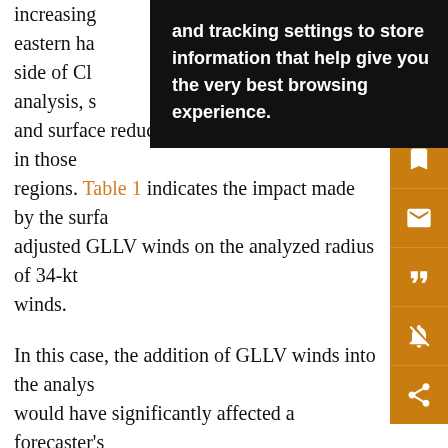increasing eastern ha side of Cl analysis, s and surface reduced AP reconnaissance data in those regions. Table 1 indicates the impact made by the surface adjusted GLLV winds on the analyzed radius of 34-kt winds.
In this case, the addition of GLLV winds into the analysis would have significantly affected a forecaster's determination of the radius of the 34-kt winds and may have affected the issuance of local marine advisories.
b. Impacts on the analysis of Hurricane Georges
Another example of an H*Wind analysis performed in a